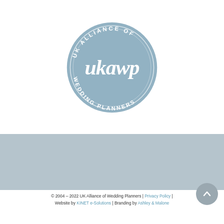[Figure (logo): UKAWP — UK Alliance of Wedding Planners circular badge logo in muted steel blue with white script text 'ukawp' and curved text reading 'UK ALLIANCE OF' at top and 'WEDDING PLANNERS' at bottom]
[Figure (infographic): Hamburger menu icon (three horizontal lines) and five social media icons: Instagram, Facebook, Pinterest, Twitter, YouTube — rendered on a muted blue-grey banner]
© 2004 – 2022 UK Alliance of Wedding Planners | Privacy Policy | Website by KINET e-Solutions | Branding by Ashley & Malone